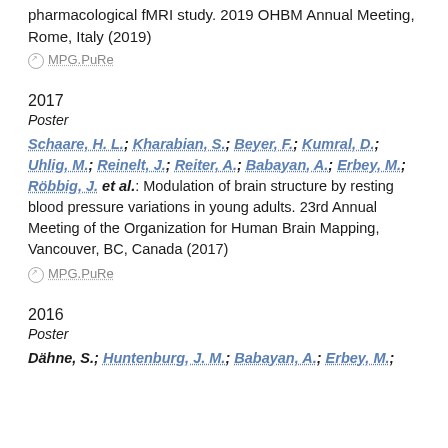neural response during reward and punishment. A pharmacological fMRI study. 2019 OHBM Annual Meeting, Rome, Italy (2019)
⊙ MPG.PuRe
2017
Poster
Schaare, H. L.; Kharabian, S.; Beyer, F.; Kumral, D.; Uhlig, M.; Reinelt, J.; Reiter, A.; Babayan, A.; Erbey, M.; Röbbig, J. et al.: Modulation of brain structure by resting blood pressure variations in young adults. 23rd Annual Meeting of the Organization for Human Brain Mapping, Vancouver, BC, Canada (2017)
⊙ MPG.PuRe
2016
Poster
Dähne, S.; Huntenburg, J. M.; Babayan, A.; Erbey, M.;